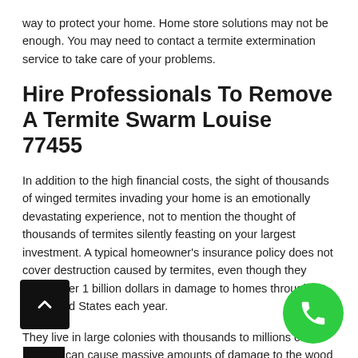way to protect your home. Home store solutions may not be enough. You may need to contact a termite extermination service to take care of your problems.
Hire Professionals To Remove A Termite Swarm Louise 77455
In addition to the high financial costs, the sight of thousands of winged termites invading your home is an emotionally devastating experience, not to mention the thought of thousands of termites silently feasting on your largest investment. A typical homeowner's insurance policy does not cover destruction caused by termites, even though they cause over 1 billion dollars in damage to homes throughout the United States each year.
They live in large colonies with thousands to millions of termites, can cause massive amounts of damage to the wood in your home, which can lead to costly amounts of structural damage. If your home is swarmed by termites, don't panic